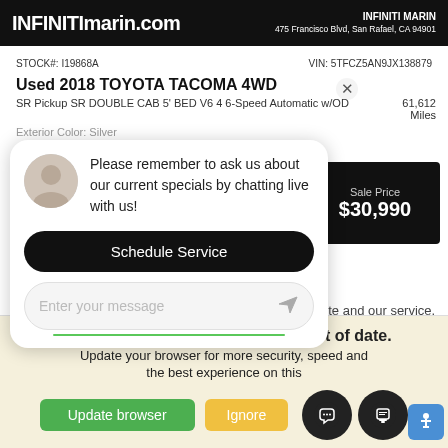INFINITImarin.com  INFINITI MARIN  475 Francisco Blvd, San Rafael, CA  94901
STOCK#: I19868A   VIN: 5TFCZ5AN9JX138879
Used 2018 TOYOTA TACOMA 4WD
SR Pickup SR DOUBLE CAB 5' BED V6 4 6-Speed Automatic w/OD   61,612 Miles
Exterior Color: Silver
Please remember to ask us about our current specials by chatting live with us!
Sale Price $30,990
Schedule Service
Enter your message
website and our service.
Your web browser (iOS 11) is out of date. Update your browser for more security, speed and the best experience on this
Update browser
Ignore